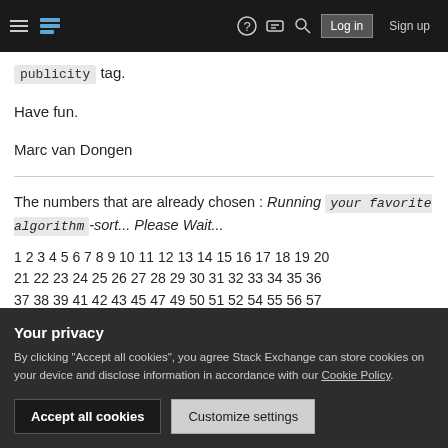Stack Exchange navigation bar with hamburger menu, logo, help, chat, search, Log in, Sign up
publicity tag.
Have fun.
Marc van Dongen
The numbers that are already chosen : Running your favorite algorithm -sort... Please Wait...
1 2 3 4 5 6 7 8 9 10 11 12 13 14 15 16 17 18 19 20 21 22 23 24 25 26 27 28 29 30 31 32 33 34 35 36 37 38 39 41 42 43 45 47 49 50 51 52 54 55 56 57
143 144 145 147 148 150 151 152 153 154 156 157
Your privacy
By clicking "Accept all cookies", you agree Stack Exchange can store cookies on your device and disclose information in accordance with our Cookie Policy.
Accept all cookies   Customize settings